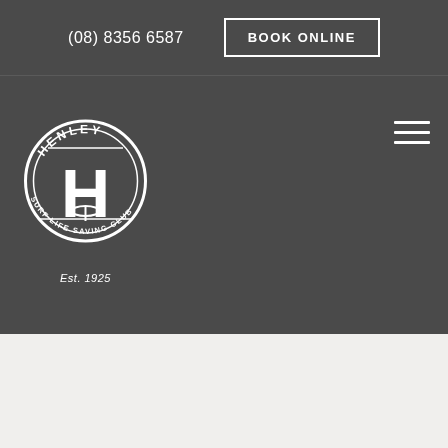(08) 8356 6587
BOOK ONLINE
[Figure (logo): Henley Surf Life Saving Club circular logo with letter H in the center, text 'HENLEY' at top and 'SURF LIFE SAVING CLUB' around the circle, Est. 1925 below]
Est. 1925